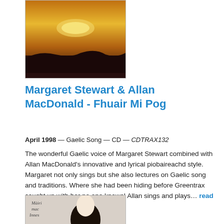[Figure (photo): Album cover artwork showing a dramatic landscape with golden/orange sky and dark silhouetted terrain]
Margaret Stewart & Allan MacDonald - Fhuair Mi Pog
April 1998 — Gaelic Song — CD — CDTRAX132
The wonderful Gaelic voice of Margaret Stewart combined with Allan MacDonald's innovative and lyrical piobaireachd style. Margaret not only sings but she also lectures on Gaelic song and traditions. Where she had been hiding before Greentrax caught up with her no one knows! Allan sings and plays… read more
[Figure (photo): Album cover showing a person with curly dark hair with handwritten text 'Mairi mac Innes']